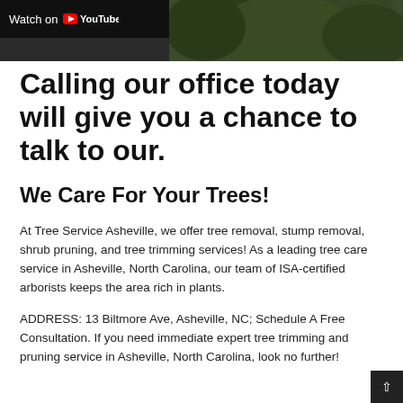[Figure (screenshot): YouTube video thumbnail showing a dark overlay bar with 'Watch on YouTube' text and YouTube logo on the left, with a green tree/foliage background on the right.]
Calling our office today will give you a chance to talk to our.
We Care For Your Trees!
At Tree Service Asheville, we offer tree removal, stump removal, shrub pruning, and tree trimming services! As a leading tree care service in Asheville, North Carolina, our team of ISA-certified arborists keeps the area rich in plants.
ADDRESS: 13 Biltmore Ave, Asheville, NC; Schedule A Free Consultation. If you need immediate expert tree trimming and pruning service in Asheville, North Carolina, look no further!